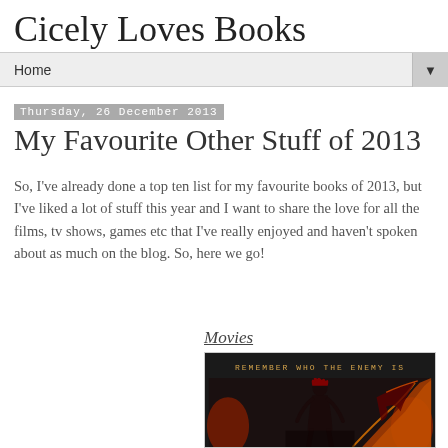Cicely Loves Books
Home
Thursday, 26 December 2013
My Favourite Other Stuff of 2013
So, I've already done a top ten list for my favourite books of 2013, but I've liked a lot of stuff this year and I want to share the love for all the films, tv shows, games etc that I've really enjoyed and haven't spoken about as much on the blog. So, here we go!
Movies
[Figure (photo): Movie poster for a film showing a woman's face with fire/dragon imagery and the text 'REMEMBER WHO THE ENEMY IS' at the top — appears to be The Hunger Games: Catching Fire poster]